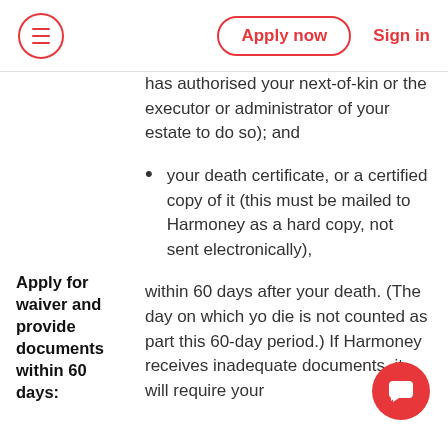Apply now | Sign in
has authorised your next-of-kin or the executor or administrator of your estate to do so); and
your death certificate, or a certified copy of it (this must be mailed to Harmoney as a hard copy, not sent electronically),
Apply for waiver and provide documents within 60 days:
within 60 days after your death. (The day on which you die is not counted as part of this 60-day period.) If Harmoney receives inadequate documents, it will require your